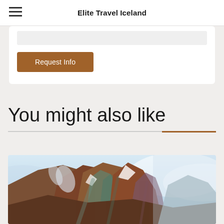Elite Travel Iceland
Request Info
You might also like
[Figure (photo): Colorful rhyolite mountains in Iceland with steam and mist, featuring volcanic rock in shades of brown, rust, teal and purple under a pale blue sky.]